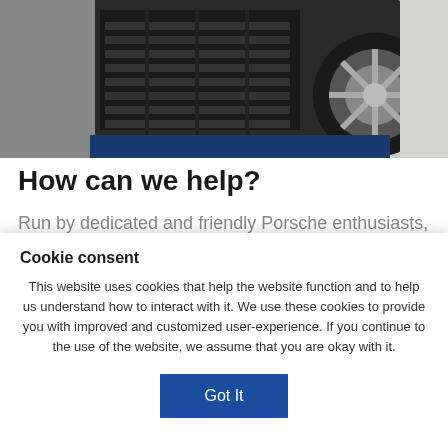[Figure (photo): Close-up photo of a Porsche car showing the front grille/air vent area and a wheel/tire on the right side against a light background.]
How can we help?
Run by dedicated and friendly Porsche enthusiasts, we are here to help you get the most out of owning your Porsche. We have over 30 model-specific Registers, each run by enthusiastic volunteers and technical
Cookie consent
This website uses cookies that help the website function and to help us understand how to interact with it. We use these cookies to provide you with improved and customized user-experience. If you continue to the use of the website, we assume that you are okay with it.
Got It